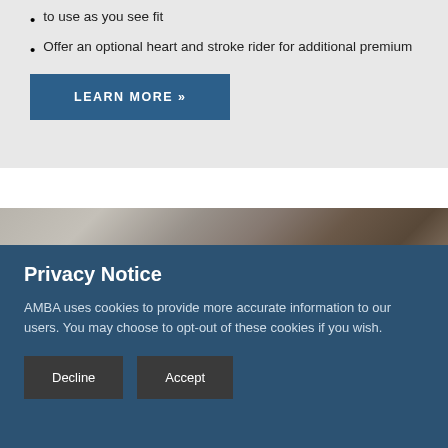to use as you see fit
Offer an optional heart and stroke rider for additional premium
LEARN MORE »
[Figure (photo): Partial photo of a person, cropped, showing head/shoulder area with blurred background]
Privacy Notice
AMBA uses cookies to provide more accurate information to our users. You may choose to opt-out of these cookies if you wish.
Decline
Accept